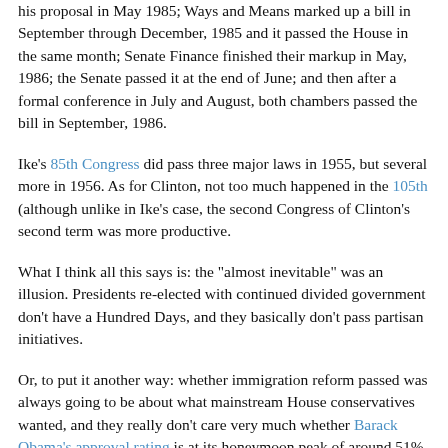his proposal in May 1985; Ways and Means marked up a bill in September through December, 1985 and it passed the House in the same month; Senate Finance finished their markup in May, 1986; the Senate passed it at the end of June; and then after a formal conference in July and August, both chambers passed the bill in September, 1986.
Ike's 85th Congress did pass three major laws in 1955, but several more in 1956. As for Clinton, not too much happened in the 105th (although unlike in Ike's case, the second Congress of Clinton's second term was more productive.
What I think all this says is: the "almost inevitable" was an illusion. Presidents re-elected with continued divided government don't have a Hundred Days, and they basically don't pass partisan initiatives.
Or, to put it another way: whether immigration reform passed was always going to be about what mainstream House conservatives wanted, and they really don't care very much whether Barack Obama's approval rating is at its honeymoon peak of around 51%, or if it's fallen to around 48% (post-gun